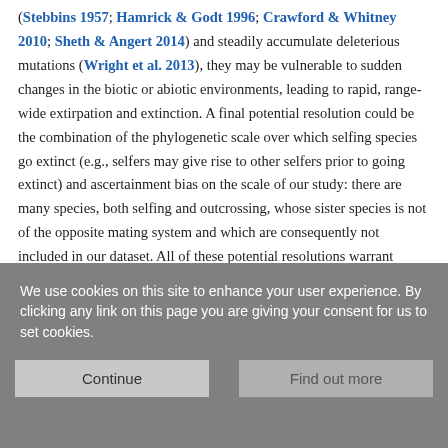(Stebbins 1957; Hamrick & Godt 1996; Crawford & Whitney 2010; Sheth & Angert 2014) and steadily accumulate deleterious mutations (Wright et al. 2013), they may be vulnerable to sudden changes in the biotic or abiotic environments, leading to rapid, range-wide extirpation and extinction. A final potential resolution could be the combination of the phylogenetic scale over which selfing species go extinct (e.g., selfers may give rise to other selfers prior to going extinct) and ascertainment bias on the scale of our study: there are many species, both selfing and outcrossing, whose sister species is not of the opposite mating system and which are consequently not included in our dataset. All of these potential resolutions warrant future research.
We use cookies on this site to enhance your user experience. By clicking any link on this page you are giving your consent for us to set cookies.